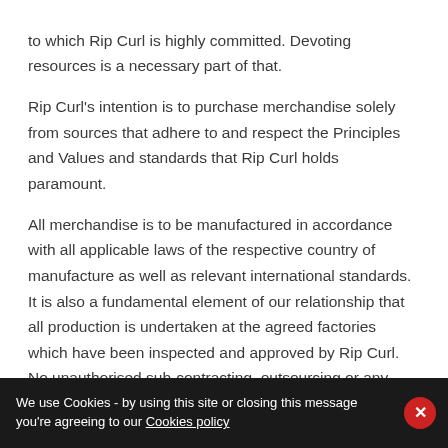to which Rip Curl is highly committed. Devoting resources is a necessary part of that.
Rip Curl's intention is to purchase merchandise solely from sources that adhere to and respect the Principles and Values and standards that Rip Curl holds paramount.
All merchandise is to be manufactured in accordance with all applicable laws of the respective country of manufacture as well as relevant international standards. It is also a fundamental element of our relationship that all production is undertaken at the agreed factories which have been inspected and approved by Rip Curl. No unauthorised sub-contracting, outsourcing or any other diversion
We use Cookies - by using this site or closing this message you're agreeing to our Cookies policy